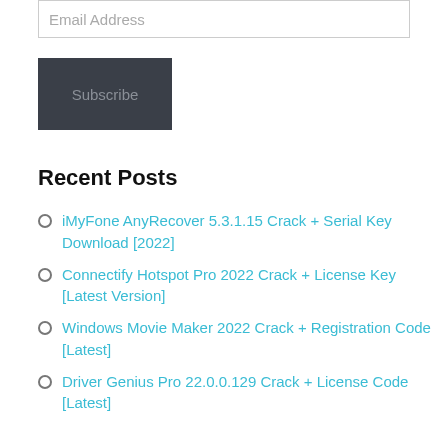Email Address
Subscribe
Recent Posts
iMyFone AnyRecover 5.3.1.15 Crack + Serial Key Download [2022]
Connectify Hotspot Pro 2022 Crack + License Key [Latest Version]
Windows Movie Maker 2022 Crack + Registration Code [Latest]
Driver Genius Pro 22.0.0.129 Crack + License Code [Latest]